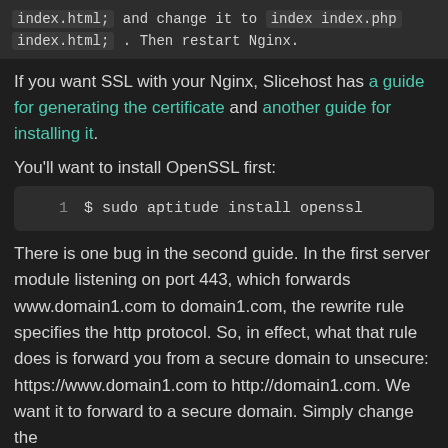index.html; and change it to index index.php index.html; . Then restart Nginx.
If you want SSL with your Nginx, Slicehost has a guide for generating the certificate and another guide for installing it.
You'll want to install OpenSSL first:
1    $ sudo aptitude install openssl
There is one bug in the second guide. In the first server module listening on port 443, which forwards www.domain1.com to domain1.com, the rewrite rule specifies the http protocol. So, in effect, what that rule does is forward you from a secure domain to unsecure: https://www.domain1.com to http://domain1.com. We want it to forward to a secure domain. Simply change the